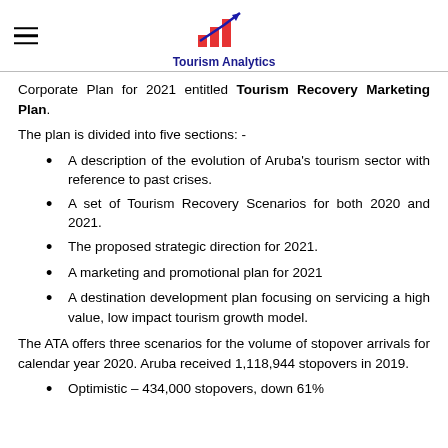Tourism Analytics
Corporate Plan for 2021 entitled Tourism Recovery Marketing Plan.
The plan is divided into five sections: -
A description of the evolution of Aruba's tourism sector with reference to past crises.
A set of Tourism Recovery Scenarios for both 2020 and 2021.
The proposed strategic direction for 2021.
A marketing and promotional plan for 2021
A destination development plan focusing on servicing a high value, low impact tourism growth model.
The ATA offers three scenarios for the volume of stopover arrivals for calendar year 2020. Aruba received 1,118,944 stopovers in 2019.
Optimistic – 434,000 stopovers, down 61%